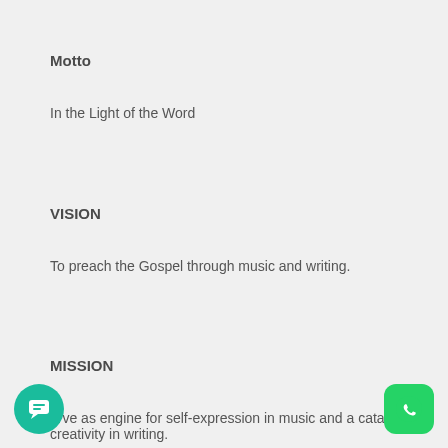Motto
In the Light of the Word
VISION
To preach the Gospel through music and writing.
MISSION
…erve as engine for self-expression in music and a catalys… creativity in writing.